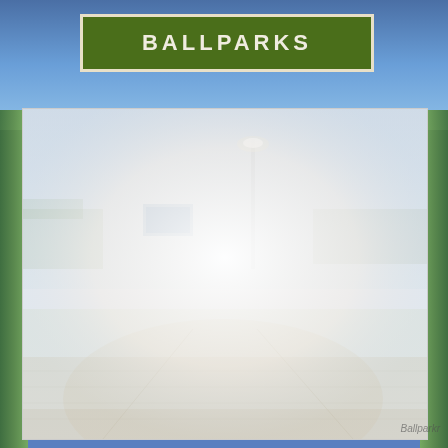BALLPARKS
[Figure (photo): Faded/washed-out aerial view of a baseball ballpark showing the outfield, light tower, scoreboard, stadium seating with crowd, and playing field. The image is heavily faded to near-white in the center.]
Ballparkr